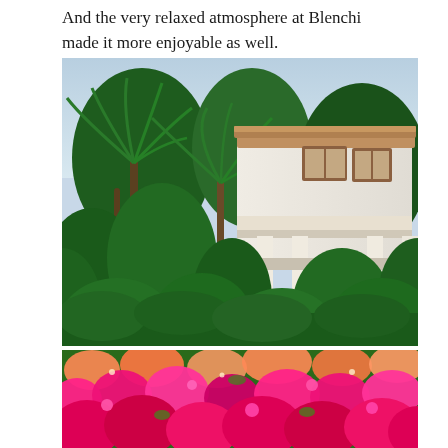And the very relaxed atmosphere at Blenchi made it more enjoyable as well.
[Figure (photo): A white multi-story villa with wooden-framed windows and a tiled roof, viewed from below through tall palm trees and lush tropical greenery against a pale sky.]
[Figure (photo): Close-up of bright pink and orange bougainvillea flowers in full bloom, filling the frame with vivid color.]